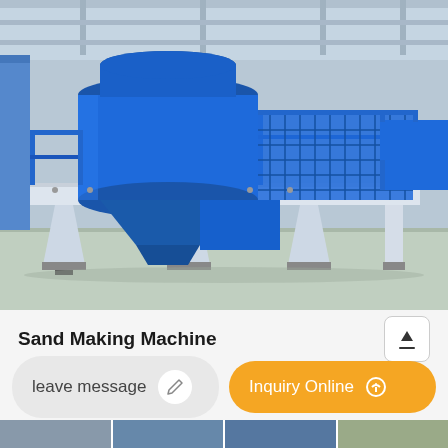[Figure (photo): Large blue industrial sand making machine (VSI crusher) in a factory setting, mounted on a white steel platform with legs. The machine has a cylindrical blue drum on top, blue mesh guard panels, and blue funnel-shaped outlets at the bottom. Factory floor is light grey/green. Steel structure railings in blue.]
Sand Making Machine
leave message
Inquiry Online